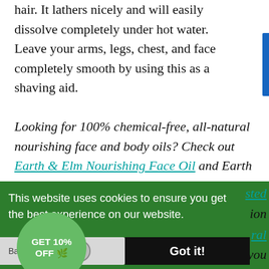hair. It lathers nicely and will easily dissolve completely under hot water. Leave your arms, legs, chest, and face completely smooth by using this as a shaving aid.
Looking for 100% chemical-free, all-natural nourishing face and body oils? Check out Earth & Elm Nourishing Face Oil and Earth & Elm [partially visible text continues below]
This website uses cookies to ensure you get the best experience on our website.
Back to the top
Got it!
GET 10% OFF 🌿